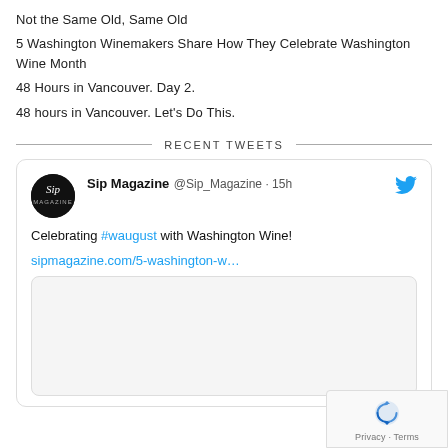Not the Same Old, Same Old
5 Washington Winemakers Share How They Celebrate Washington Wine Month
48 Hours in Vancouver. Day 2.
48 hours in Vancouver. Let's Do This.
RECENT TWEETS
[Figure (screenshot): Embedded tweet from Sip Magazine (@Sip_Magazine) posted 15h ago: 'Celebrating #waugust with Washington Wine!' with link sipmagazine.com/5-washington-w… and an embedded image preview card]